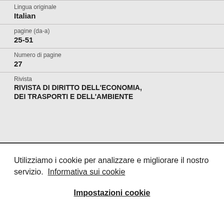Lingua originale
Italian
pagine (da-a)
25-51
Numero di pagine
27
Rivista
RIVISTA DI DIRITTO DELL'ECONOMIA, DEI TRASPORTI E DELL'AMBIENTE
Utilizziamo i cookie per analizzare e migliorare il nostro servizio.  Informativa sui cookie
Impostazioni cookie